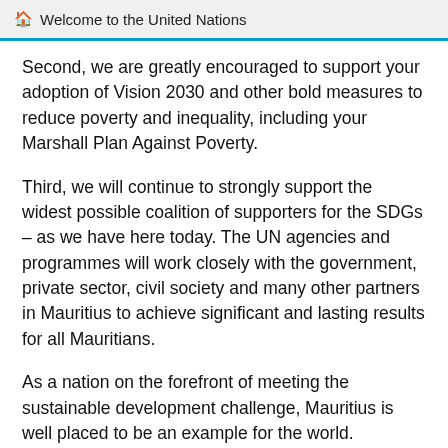Welcome to the United Nations
Second, we are greatly encouraged to support your adoption of Vision 2030 and other bold measures to reduce poverty and inequality, including your Marshall Plan Against Poverty.
Third, we will continue to strongly support the widest possible coalition of supporters for the SDGs – as we have here today. The UN agencies and programmes will work closely with the government, private sector, civil society and many other partners in Mauritius to achieve significant and lasting results for all Mauritians.
As a nation on the forefront of meeting the sustainable development challenge, Mauritius is well placed to be an example for the world.
We will continue to look to the experience of Mauritius